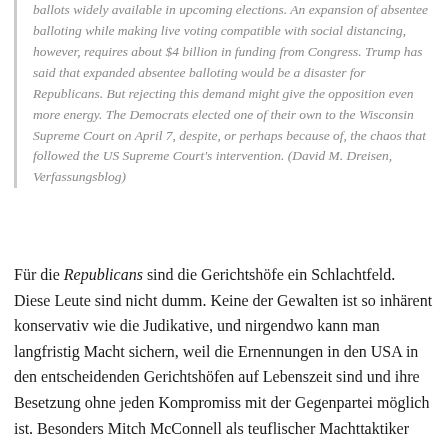ballots widely available in upcoming elections. An expansion of absentee balloting while making live voting compatible with social distancing, however, requires about $4 billion in funding from Congress. Trump has said that expanded absentee balloting would be a disaster for Republicans. But rejecting this demand might give the opposition even more energy. The Democrats elected one of their own to the Wisconsin Supreme Court on April 7, despite, or perhaps because of, the chaos that followed the US Supreme Court's intervention. (David M. Dreisen, Verfassungsblog)
Für die Republicans sind die Gerichtshöfe ein Schlachtfeld. Diese Leute sind nicht dumm. Keine der Gewalten ist so inhärent konservativ wie die Judikative, und nirgendwo kann man langfristig Macht sichern, weil die Ernennungen in den USA in den entscheidenden Gerichtshöfen auf Lebenszeit sind und ihre Besetzung ohne jeden Kompromiss mit der Gegenpartei möglich ist. Besonders Mitch McConnell als teuflischer Machttaktiker